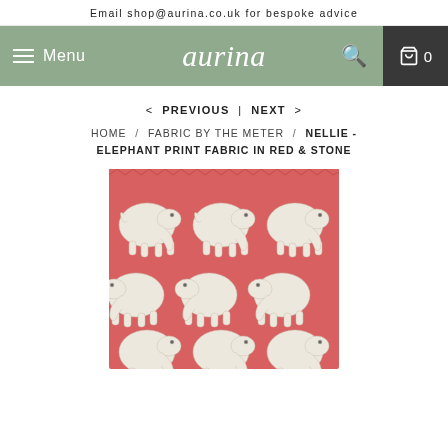Email shop@aurina.co.uk for bespoke advice
[Figure (screenshot): Aurina website navigation bar with hamburger menu, Menu text, Aurina logo in script font, search icon, and cart icon showing 0 items, on a sage green background]
< PREVIOUS | NEXT >
HOME / FABRIC BY THE METER / NELLIE - ELEPHANT PRINT FABRIC IN RED & STONE
[Figure (photo): Fabric swatch showing a repeated elephant print pattern with cream/stone colored elephants on a coral red background, arranged in rows facing alternating directions]